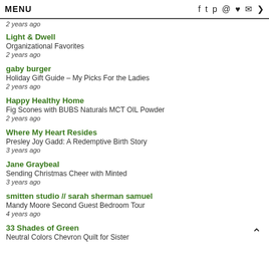MENU
2 years ago
Light & Dwell
Organizational Favorites
2 years ago
gaby burger
Holiday Gift Guide – My Picks For the Ladies
2 years ago
Happy Healthy Home
Fig Scones with BUBS Naturals MCT OIL Powder
2 years ago
Where My Heart Resides
Presley Joy Gadd: A Redemptive Birth Story
3 years ago
Jane Graybeal
Sending Christmas Cheer with Minted
3 years ago
smitten studio // sarah sherman samuel
Mandy Moore Second Guest Bedroom Tour
4 years ago
33 Shades of Green
Neutral Colors Chevron Quilt for Sister